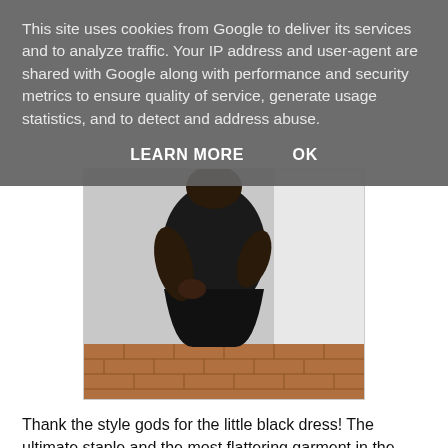This site uses cookies from Google to deliver its services and to analyze traffic. Your IP address and user-agent are shared with Google along with performance and security metrics to ensure quality of service, generate usage statistics, and to detect and address abuse.
LEARN MORE    OK
[Figure (photo): A person wearing a black dress, holding something close to their midsection, photographed against a light background with a brick ledge visible at the bottom.]
Thank the style gods for the little black dress! The ultimate staple and the most flattering garment in the business...